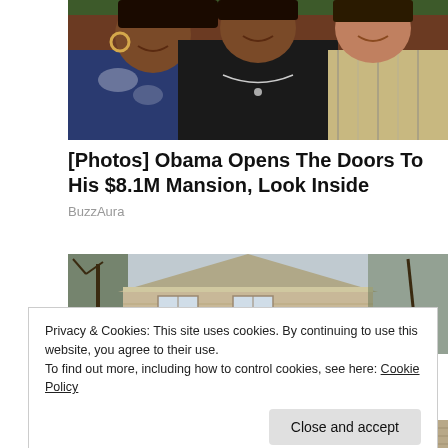[Figure (photo): Three women smiling closely together, posing for a photo. One wearing a floral top and hoop earrings, one in a black top with a necklace, and one in a plaid shirt.]
[Photos] Obama Opens The Doors To His $8.1M Mansion, Look Inside
BuzzAura
[Figure (photo): Exterior photo of a house with siding and trees in background, overcast sky.]
Privacy & Cookies: This site uses cookies. By continuing to use this website, you agree to their use.
To find out more, including how to control cookies, see here: Cookie Policy
[Figure (photo): Bottom strip photo showing another exterior view of a house.]